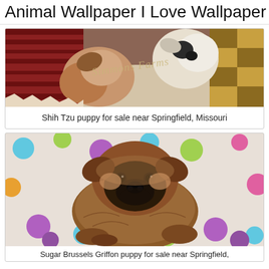Animal Wallpaper I Love Wallpaper
[Figure (photo): Shih Tzu puppies on a colorful rug/carpet background with a watermark reading 'Simmons Farms']
Shih Tzu puppy for sale near Springfield, Missouri
[Figure (photo): Brussels Griffon puppy sitting on a polka dot blanket, brown and black fur, looking at camera]
Sugar Brussels Griffon puppy for sale near Springfield,